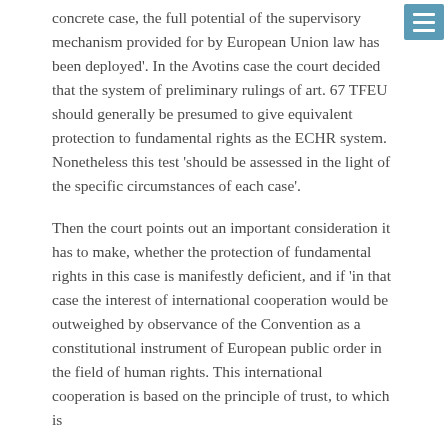concrete case, the full potential of the supervisory mechanism provided for by European Union law has been deployed'. In the Avotins case the court decided that the system of preliminary rulings of art. 67 TFEU should generally be presumed to give equivalent protection to fundamental rights as the ECHR system. Nonetheless this test 'should be assessed in the light of the specific circumstances of each case'.
Then the court points out an important consideration it has to make, whether the protection of fundamental rights in this case is manifestly deficient, and if 'in that case the interest of international cooperation would be outweighed by observance of the Convention as a constitutional instrument of European public order in the field of human rights. This international cooperation is based on the principle of trust, to which is